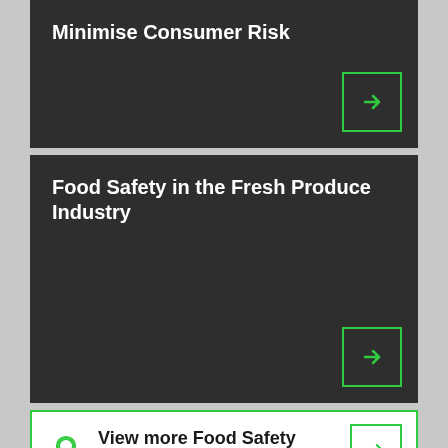Minimise Consumer Risk
Food Safety in the Fresh Produce Industry
View more Food Safety projects